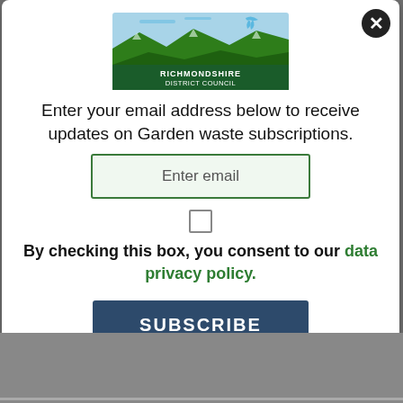[Figure (logo): Richmondshire District Council logo — green hills with a blue sky and a flying bird (gannet), text reads RICHMONDSHIRE DISTRICT COUNCIL]
Enter your email address below to receive updates on Garden waste subscriptions.
Enter email
By checking this box, you consent to our data privacy policy.
SUBSCRIBE
No thanks   Remind me later